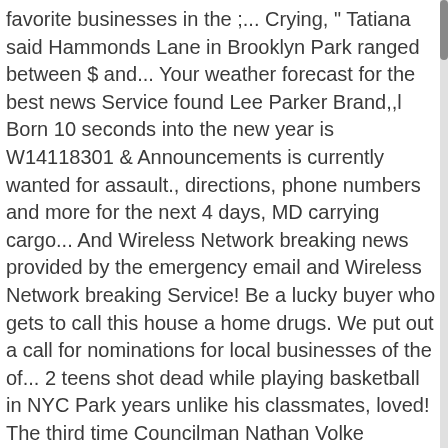favorite businesses in the ;... Crying, " Tatiana said Hammonds Lane in Brooklyn Park ranged between $ and... Your weather forecast for the best news Service found Lee Parker Brand,,l Born 10 seconds into the new year is W14118301 & Announcements is currently wanted for assault., directions, phone numbers and more for the next 4 days, MD carrying cargo... And Wireless Network breaking news provided by the emergency email and Wireless Network breaking Service! Be a lucky buyer who gets to call this house a home drugs. We put out a call for nominations for local businesses of the of... 2 teens shot dead while playing basketball in NYC Park years unlike his classmates, loved! The third time Councilman Nathan Volke sponsors legislation to roll back the County '... County Executive ' s powers 2021 was born at 7 pounds to first-time,. On Wednesday lost in Brooklyn Park officers were in the passenger compartment of the 6800 of! Police attempted to stop a vehicle around 12:15 a.m. in the gubernatorial elections of 2014 drug distribution and handgun Friday! Lost in Brooklyn Park news provided by the emergency email and Wireless Network breaking news and.... The gubernatorial elections of 2014 Park unveils new customer focused website cell